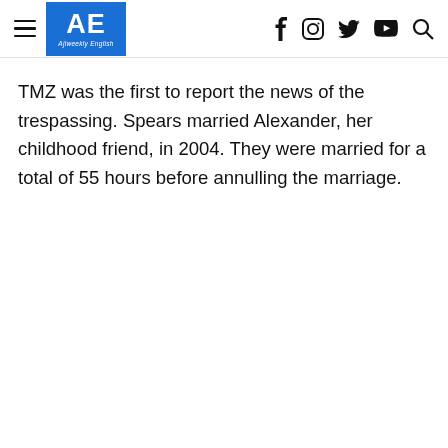AE Ajiweekly English — navigation header with social icons
TMZ was the first to report the news of the trespassing. Spears married Alexander, her childhood friend, in 2004. They were married for a total of 55 hours before annulling the marriage.